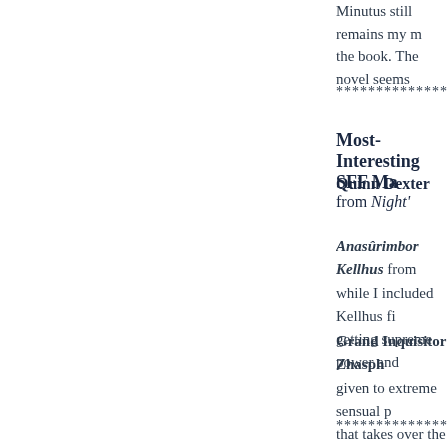Minutus still remains my … the book. The novel seems…
*********************…
Most-Interesting SFF Ma…
Quinn Dexter from Night'…
Anasûrimbor Kellhus from… while I included Kellhus fi… getting supreme power and…
Grand Inquisitor Zhasph… given to extreme sensual p… that takes over the page wh…
*********************…
Most-Interesting Non-SF…
SS Officer Dr. Maximilie… relatively small fry as the N… personal dramas and the la… …of the… Via The Vi…